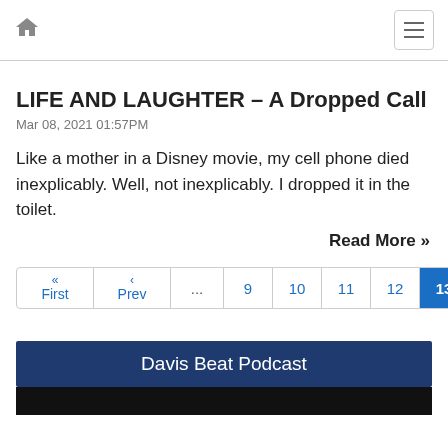Home | Menu
LIFE AND LAUGHTER – A Dropped Call
Mar 08, 2021 01:57PM
Like a mother in a Disney movie, my cell phone died inexplicably. Well, not inexplicably. I dropped it in the toilet.
Read More »
« First ‹ Prev ... 9 10 11 12 13 14
Davis Beat Podcast